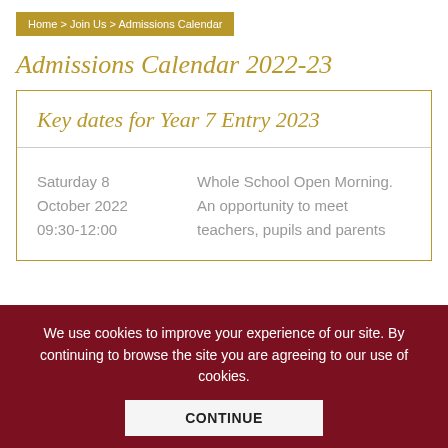Home > Join Us > Admissions Calendar
Admissions Calendar 2022-23
Key dates for Year 7 Entry 2023
| Date | Event |
| --- | --- |
| Saturday 8 October 2022 09:30-12:00 | Whole School Open Morning. An opportunity to meet teachers, pupils and parents |
We use cookies to improve your experience of our site. By continuing to browse the site you are agreeing to our use of cookies.
CONTINUE